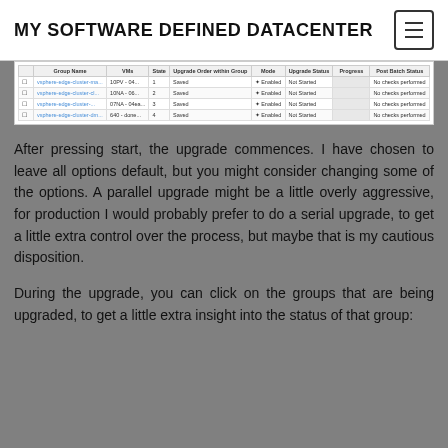MY SOFTWARE DEFINED DATACENTER
[Figure (screenshot): A table screenshot showing upgrade group status with columns: Group Name, VMs, State, Upgrade Order within Group, Mode, Upgrade Status, Progress, Post Batch Status. Four rows visible, all with 'Saved' state, 'Enabled' mode, 'Not Started' upgrade status, and 'No checks performed' post batch status.]
After pressing start, the upgrade commences. I have chosen to leave all options default, but you might consider changing some of the options. A parallel upgrade might be a little overly aggressive, for production I would probably prefer to do a serial upgrade, to get a little extra control over the process, but maybe that is my cautious disposition.
During the upgrade, you can click on the groups that are being upgraded, to get a little extra insight into the status of that group: